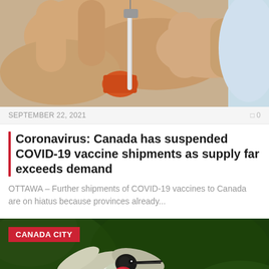[Figure (photo): Close-up photo of a hand holding a medical syringe/vaccine vial with needle pointing down, orange medical cap visible]
SEPTEMBER 22, 2021
0
Coronavirus: Canada has suspended COVID-19 vaccine shipments as supply far exceeds demand
OTTAWA – Further shipments of COVID-19 vaccines to Canada are on hiatus because provinces already...
[Figure (photo): Close-up photo of a ruby-throated hummingbird in flight with wings spread, dark green bokeh background]
CANADA CITY